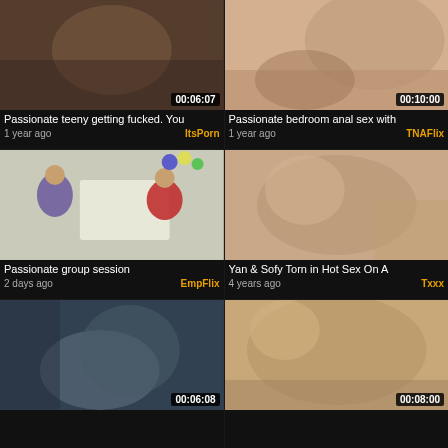[Figure (photo): Video thumbnail - Passionate teeny getting fucked, duration 00:06:07]
Passionate teeny getting fucked. You
1 year ago   ItsPorn
[Figure (photo): Video thumbnail - Passionate bedroom anal sex with, duration 00:10:00]
Passionate bedroom anal sex with
1 year ago   TNAFlix
[Figure (photo): Video thumbnail - Passionate group session]
Passionate group session
2 days ago   EmpFlix
[Figure (photo): Video thumbnail - Yan & Sofy Torn in Hot Sex On A, duration shown]
Yan & Sofy Torn in Hot Sex On A
4 years ago   Txxx
[Figure (photo): Video thumbnail - bottom left video, duration 00:06:08]
[Figure (photo): Video thumbnail - bottom right video, duration 00:08:00]